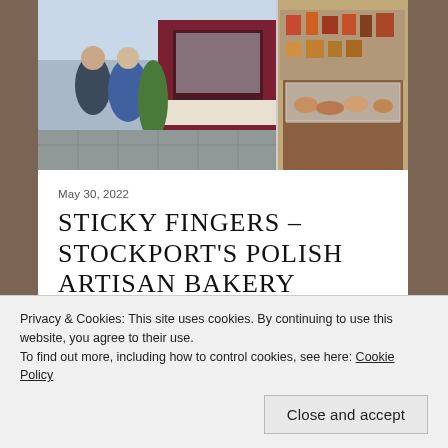[Figure (photo): Collage of two photos side by side: left shows people walking outside a bakery/shop with a maroon storefront, right shows the interior of a bakery/deli with display cases and shelves of products.]
May 30, 2022
STICKY FINGERS – STOCKPORT'S POLISH ARTISAN BAKERY
Find out more about Stockport's first artisan polish bakery!
Coffee, Cake & Pastries  -  by SK
Privacy & Cookies: This site uses cookies. By continuing to use this website, you agree to their use.
To find out more, including how to control cookies, see here: Cookie Policy
Close and accept
[Figure (photo): Bottom strip showing partial view of additional bakery photos.]